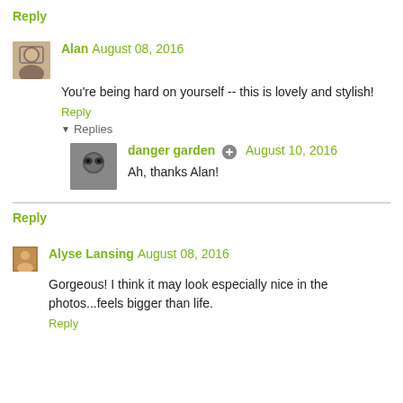Reply
Alan  August 08, 2016
You're being hard on yourself -- this is lovely and stylish!
Reply
Replies
danger garden  August 10, 2016
Ah, thanks Alan!
Reply
Alyse Lansing  August 08, 2016
Gorgeous! I think it may look especially nice in the photos...feels bigger than life.
Reply